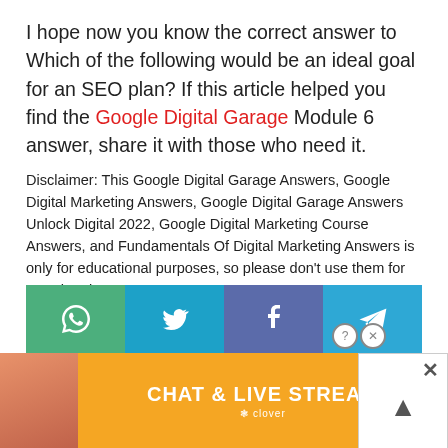I hope now you know the correct answer to Which of the following would be an ideal goal for an SEO plan? If this article helped you find the Google Digital Garage Module 6 answer, share it with those who need it.
Disclaimer: This Google Digital Garage Answers, Google Digital Marketing Answers, Google Digital Garage Answers Unlock Digital 2022, Google Digital Marketing Course Answers, and Fundamentals Of Digital Marketing Answers is only for educational purposes, so please don't use them for any cheating purposes.
[Figure (other): Social share buttons: WhatsApp (green), Twitter (blue), Facebook (purple-blue), Telegram (light blue)]
[Figure (other): Advertisement banner: Chat & Live Stream by Clover, with a woman photo on beach, close button overlay with X and up-arrow, help and close circle icons]